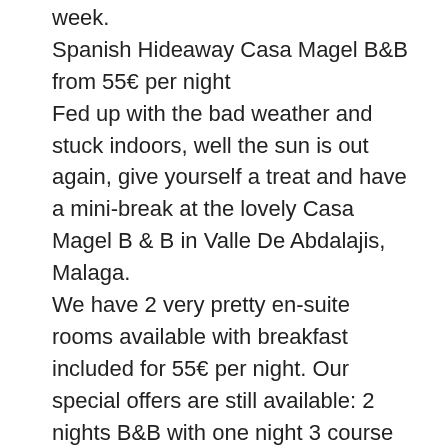week.
Spanish Hideaway Casa Magel B&B from 55€ per night
Fed up with the bad weather and stuck indoors, well the sun is out again, give yourself a treat and have a mini-break at the lovely Casa Magel B & B in Valle De Abdalajis, Malaga.
We have 2 very pretty en-suite rooms available with breakfast included for 55€ per night. Our special offers are still available: 2 nights B&B with one night 3 course evening meal with wine for 2 sharing; 120€. We also have a 3-night break with B&B, one night 3-course meal with wine and another night tapas and drinks in a local bar or in house..170€. Available after the end of May. You